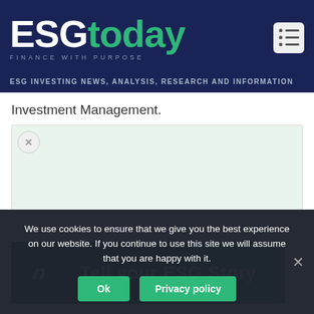[Figure (logo): ESGtoday logo with tagline FINANCE WITH PURPOSE on dark navy background]
ESG INVESTING NEWS, ANALYSIS, RESEARCH AND INFORMATION
Investment Management.
[Figure (screenshot): Light green popup/ad area with close X button]
[Figure (illustration): Dark green banner with N logo and text: Tell your ESG Story]
Don't miss the top ESG stories!
We use cookies to ensure that we give you the best experience on our website. If you continue to use this site we will assume that you are happy with it.
Ok
Privacy policy